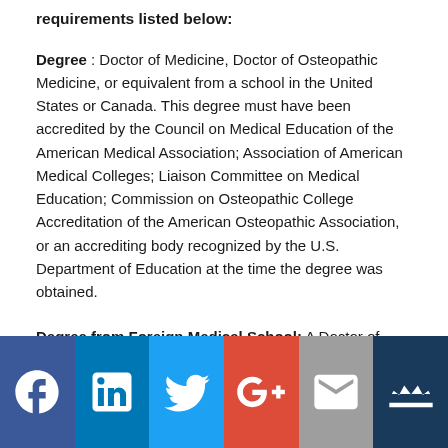requirements listed below:
Degree : Doctor of Medicine, Doctor of Osteopathic Medicine, or equivalent from a school in the United States or Canada. This degree must have been accredited by the Council on Medical Education of the American Medical Association; Association of American Medical Colleges; Liaison Committee on Medical Education; Commission on Osteopathic College Accreditation of the American Osteopathic Association, or an accrediting body recognized by the U.S. Department of Education at the time the degree was obtained.
Degree from Foreign Medical School: A Doctor of Medicine or equivalent degree from a foreign medical school must have provided education and medical knowledge equivalent to accredited schools in the United States. Evidence of equivalency to accredited schools in the United
[Figure (other): Social media sharing bar with icons for Facebook, LinkedIn, Twitter, Google+, Email, and a crown/mailing icon]